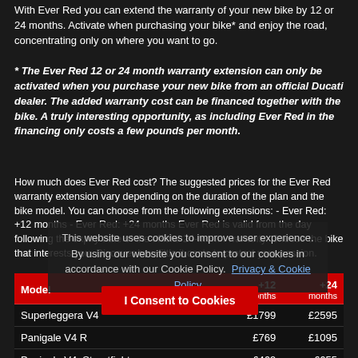With Ever Red you can extend the warranty of your new bike by 12 or 24 months. Activate when purchasing your bike* and enjoy the road, concentrating only on where you want to go.
* The Ever Red 12 or 24 month warranty extension can only be activated when you purchase your new bike from an official Ducati dealer. The added warranty cost can be financed together with the bike. A truly interesting opportunity, as including Ever Red in the financing only costs a few pounds per month.
How much does Ever Red cost? The suggested prices for the Ever Red warranty extension vary depending on the duration of the plan and the bike model. You can choose from the following extensions: - Ever Red: +12 months - Ever Red: +24 months Ever Red is valid from the day following the expiry date of the official 24-month warranty. Choose the bike that interests you. Discover how little it costs to protect your passion.
| Model | +12 months | +24 months |
| --- | --- | --- |
| Superleggera V4 | £1799 | £2595 |
| Panigale V4 R | £769 | £1095 |
| Panigale V4, Streetfighter | £469 | £655 |
| Diavel/Xdiavel, Panigale V2 |  |  |